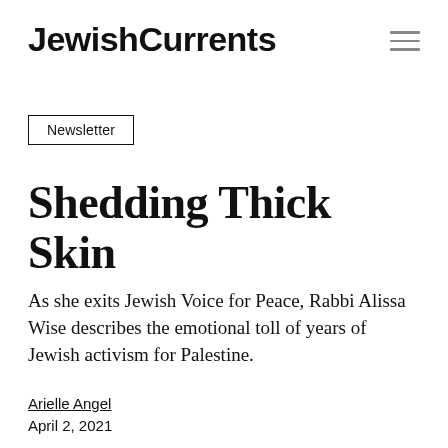Jewish Currents
Newsletter
Shedding Thick Skin
As she exits Jewish Voice for Peace, Rabbi Alissa Wise describes the emotional toll of years of Jewish activism for Palestine.
Arielle Angel
April 2, 2021